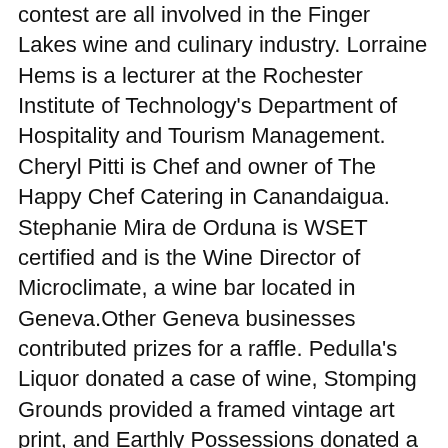contest are all involved in the Finger Lakes wine and culinary industry. Lorraine Hems is a lecturer at the Rochester Institute of Technology's Department of Hospitality and Tourism Management. Cheryl Pitti is Chef and owner of The Happy Chef Catering in Canandaigua. Stephanie Mira de Orduna is WSET certified and is the Wine Director of Microclimate, a wine bar located in Geneva.Other Geneva businesses contributed prizes for a raffle. Pedulla's Liquor donated a case of wine, Stomping Grounds provided a framed vintage art print, and Earthly Possessions donated a Seneca Lake necklace. Music was provided by John Blume and Meredith Beckley on the patio.All proceeds from this event benefitted the Smith Opera House. For more information on upcoming events at The Smith Opera House visit www.thesmith.org.The Smith Center for the Arts, a 501 c (3) non- profit arts organization, is both a presenting organization and a catalyst for enhancing the role of the arts in the Finger Lakes. The organization owns and operates the historic Smith Opera House and coordinates numerous other arts advocacy projects.